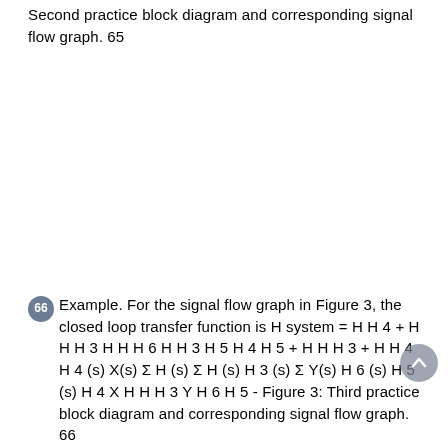Second practice block diagram and corresponding signal flow graph. 65
66 Example. For the signal flow graph in Figure 3, the closed loop transfer function is H system = H H 4 + H H H 3 H H H 6 H H 3 H 5 H 4 H 5 + H H H 3 + H H 4 H 4 (s) X(s) Σ H (s) Σ H (s) H 3 (s) Σ Y(s) H 6 (s) H 5 (s) H 4 X H H H 3 Y H 6 H 5 - Figure 3: Third practice block diagram and corresponding signal flow graph. 66